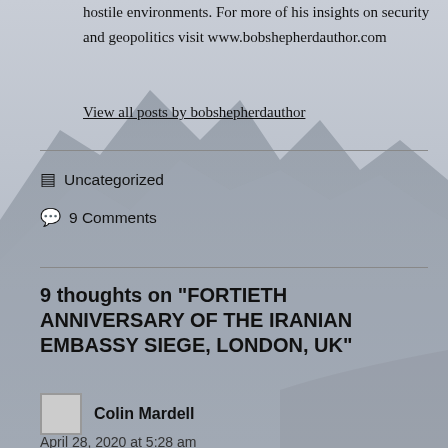hostile environments. For more of his insights on security and geopolitics visit www.bobshepherdauthor.com
View all posts by bobshepherdauthor
Uncategorized
9 Comments
9 thoughts on “FORTIETH ANNIVERSARY OF THE IRANIAN EMBASSY SIEGE, LONDON, UK”
Colin Mardell
April 28, 2020 at 5:28 am